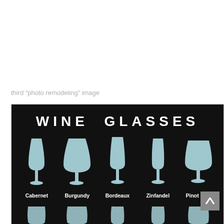third “photo remodeling” image
[Figure (infographic): Wine glasses infographic on black background showing types: Cabernet, Burgundy, Bordeaux, Zinfandel, Pinot Noir, and partial bottom row. Title: WINE GLASSES.]